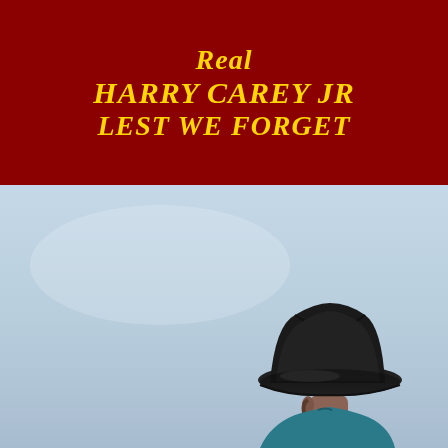Real
HARRY CAREY JR
LEST WE FORGET
[Figure (photo): A man wearing a black cowboy hat and teal/blue shirt, photographed from slightly below against a light blue-grey sky background. Only the upper portion of the figure is visible, showing the hat and partial face/shoulders.]